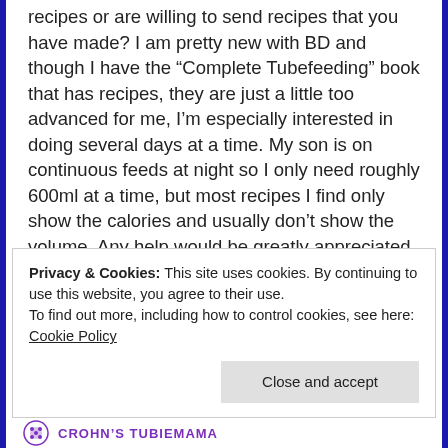recipes or are willing to send recipes that you have made? I am pretty new with BD and though I have the “Complete Tubefeeding” book that has recipes, they are just a little too advanced for me, I’m especially interested in doing several days at a time. My son is on continuous feeds at night so I only need roughly 600ml at a time, but most recipes I find only show the calories and usually don’t show the volume. Any help would be greatly appreciated.
Privacy & Cookies: This site uses cookies. By continuing to use this website, you agree to their use.
To find out more, including how to control cookies, see here: Cookie Policy
CROHN'S TUBIEMAMA